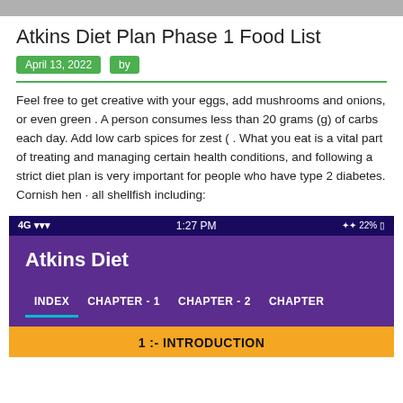Atkins Diet Plan Phase 1 Food List
April 13, 2022   by
Feel free to get creative with your eggs, add mushrooms and onions, or even green . A person consumes less than 20 grams (g) of carbs each day. Add low carb spices for zest ( . What you eat is a vital part of treating and managing certain health conditions, and following a strict diet plan is very important for people who have type 2 diabetes. Cornish hen · all shellfish including:
[Figure (screenshot): Mobile app screenshot showing the Atkins Diet app with status bar displaying 4G signal, 1:27 PM, 22% battery. Purple header with 'Atkins Diet' title and navigation tabs: INDEX, CHAPTER - 1, CHAPTER - 2, CHAPTER (cut off). Orange section bar showing '1 :- INTRODUCTION'.]